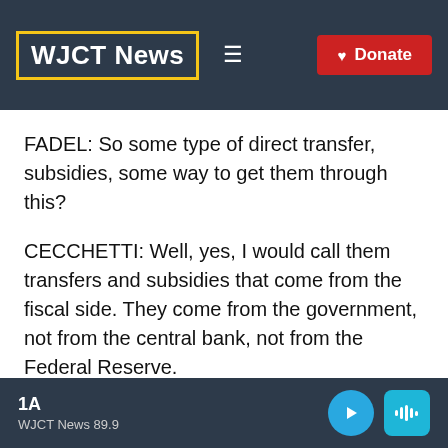WJCT News
FADEL: So some type of direct transfer, subsidies, some way to get them through this?
CECCHETTI: Well, yes, I would call them transfers and subsidies that come from the fiscal side. They come from the government, not from the central bank, not from the Federal Reserve.
1A WJCT News 89.9